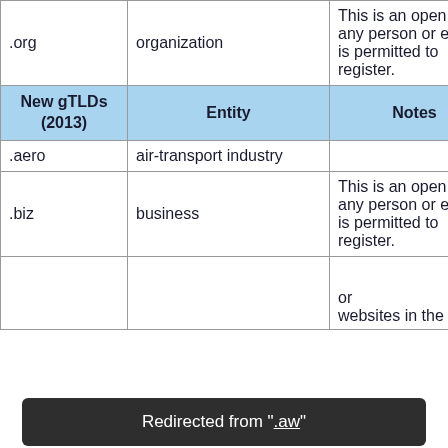| New gTLDs (2013) | Entity | Notes |
| --- | --- | --- |
| .org | organization | This is an open TLD; any person or entity is permitted to register. |
| New gTLDs (2013) | Entity | Notes |
| .aero | air-transport industry |  |
| .biz | business | This is an open TLD; any person or entity is permitted to register. |
|  |  | or websites in the |
Redirected from ".aw"